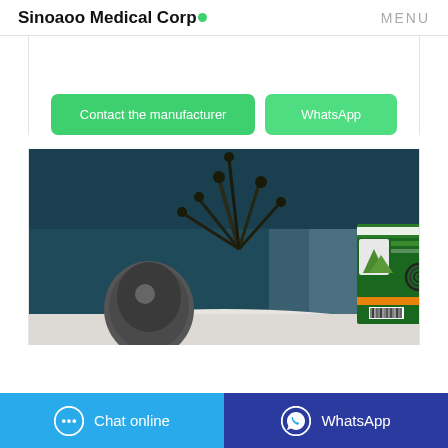Sinoaoo Medical Corp● MENU
[Figure (photo): Product photo: back of a mosquito coil box (green packaging) placed on a white surface against a dark teal background with a decorative plant and a round diffuser/speaker]
Contact the manufacturer
WhatsApp
Chat online
WhatsApp